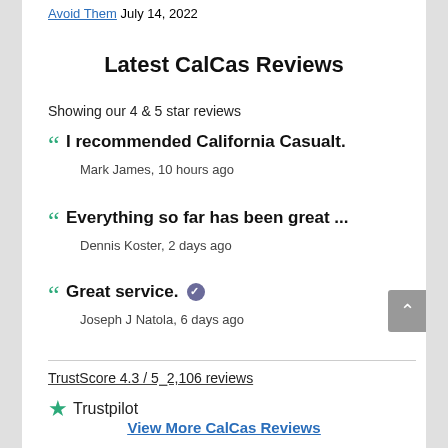Avoid Them July 14, 2022
Latest CalCas Reviews
Showing our 4 & 5 star reviews
" I recommended California Casualt. — Mark James, 10 hours ago
" Everything so far has been great ... — Dennis Koster, 2 days ago
" Great service. [verified] — Joseph J Natola, 6 days ago
TrustScore 4.3 / 5  2,106 reviews
★ Trustpilot
View More CalCas Reviews